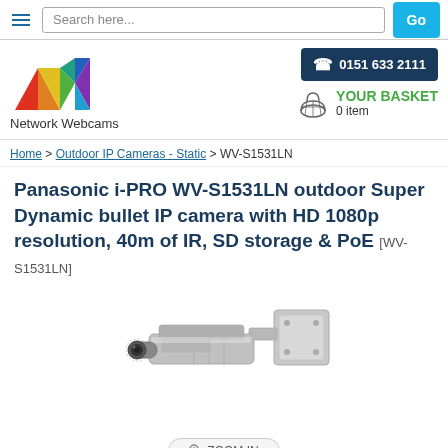Search here... Go
[Figure (logo): Network Webcams colorful geometric logo with text 'Network Webcams']
☎ 0151 633 2111
YOUR BASKET 0 item
Home > Outdoor IP Cameras - Static > WV-S1531LN
Panasonic i-PRO WV-S1531LN outdoor Super Dynamic bullet IP camera with HD 1080p resolution, 40m of IR, SD storage & PoE [WV-S1531LN]
[Figure (photo): Panasonic WV-S1531LN outdoor bullet IP security camera, silver/grey color, wall mounted, shown at angle]
🔍 ZOOM IN